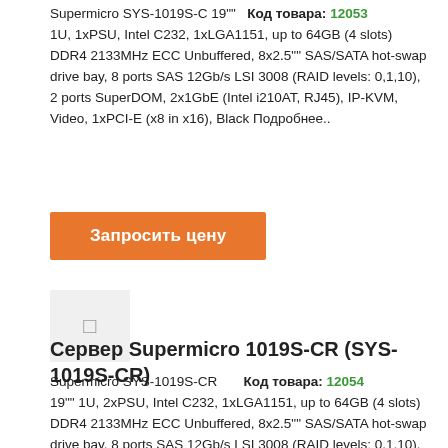Supermicro SYS-1019S-C 19""  Код товара: 12053
1U, 1xPSU, Intel C232, 1xLGA1151, up to 64GB (4 slots) DDR4 2133MHz ECC Unbuffered, 8x2.5"" SAS/SATA hot-swap drive bay, 8 ports SAS 12Gb/s LSI 3008 (RAID levels: 0,1,10), 2 ports SuperDOM, 2x1GbE (Intel i210AT, RJ45), IP-KVM, Video, 1xPCI-E (x8 in x16), Black Подробнее..
[Figure (other): Orange button labeled 'Запросить цену' (Request price)]
[Figure (other): Small image placeholder with icon]
Сервер Supermicro 1019S-CR (SYS-1019S-CR)
Supermicro SYS-1019S-CR      Код товара: 12054
19"" 1U, 2xPSU, Intel C232, 1xLGA1151, up to 64GB (4 slots) DDR4 2133MHz ECC Unbuffered, 8x2.5"" SAS/SATA hot-swap drive bay, 8 ports SAS 12Gb/s LSI 3008 (RAID levels: 0,1,10), 2 ports